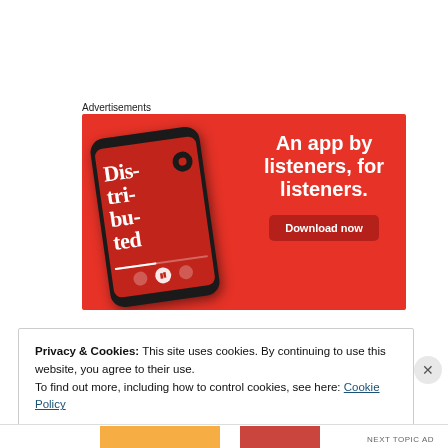Advertisements
[Figure (illustration): Advertisement banner for a podcast app on red background. Shows a smartphone with 'Dis-tri-bu-ted' podcast on screen. Text reads 'An app by listeners, for listeners.' with a 'Download now' button.]
Privacy & Cookies: This site uses cookies. By continuing to use this website, you agree to their use.
To find out more, including how to control cookies, see here: Cookie Policy
Close and accept